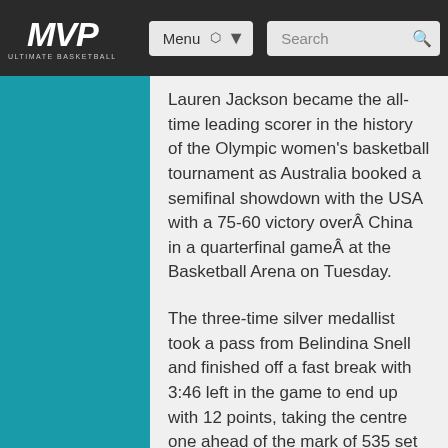MVP Ultimate Basketball — Menu | Search
Lauren Jackson became the all-time leading scorer in the history of the Olympic women's basketball tournament as Australia booked a semifinal showdown with the USA with a 75-60 victory overÂ China in a quarterfinal gameÂ at the Basketball Arena on Tuesday.
The three-time silver medallist took a pass from Belindina Snell and finished off a fast break with 3:46 left in the game to end up with 12 points, taking the centre one ahead of the mark of 535 set by Brazilian international Janet Arcain.